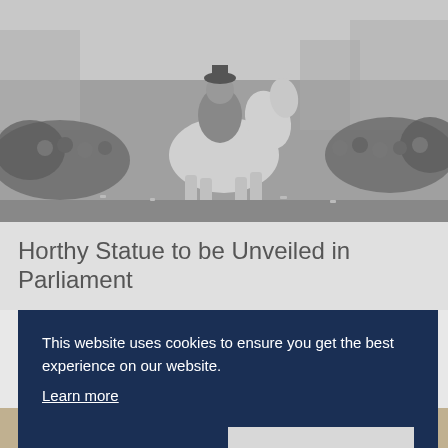[Figure (photo): Black and white historical photograph showing a person on horseback in the center, surrounded by a large crowd of people wearing coats and hats. The scene appears to be a public event or parade on a cobblestone street.]
Horthy Statue to be Unveiled in Parliament
This website uses cookies to ensure you get the best experience on our website.
Learn more
Decline
Allow cookies